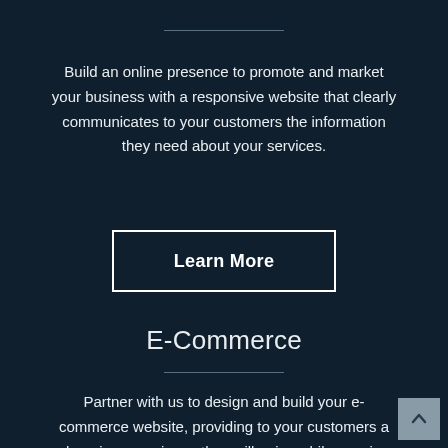Build an online presence to promote and market your business with a responsive website that clearly communicates to your customers the information they need about your services.
Learn More
E-Commerce
Partner with us to design and build your e-commerce website, providing to your customers a shopping experience they will enjoy while growing your online